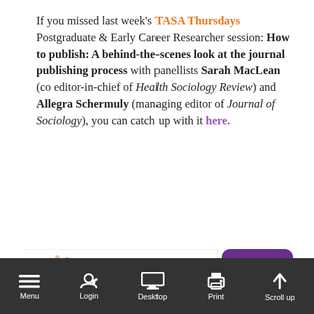If you missed last week's TASA Thursdays Postgraduate & Early Career Researcher session: How to publish: A behind-the-scenes look at the journal publishing process with panellists Sarah MacLean (co editor-in-chief of Health Sociology Review) and Allegra Schermuly (managing editor of Journal of Sociology), you can catch up with it here.
[Figure (illustration): TASA November promotional banner. Left panel shows TASA spiral logo, 'TASA NOVEMBER' in purple bold text, orange bar reading 'The opportunity for face to face events in each state & territory', and purple bar reading '& TASA THEMATIC WEEK November 22nd - 26th, 2021'. Right panel is purple rounded rectangle reading 'Full details of all TASA November events will be available soon.']
Abstract submissions for TASA Thematic Week will close on Monday July 2...
[Figure (screenshot): Mobile browser toolbar showing Menu, Login, Desktop, Print, and Scroll up icons on a dark grey bar at the bottom of the screen.]